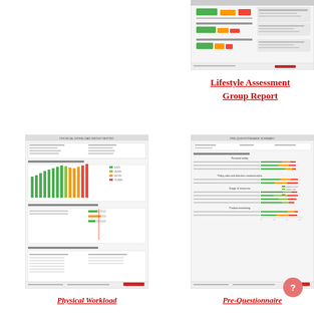[Figure (screenshot): Thumbnail of a lifestyle assessment group report showing bar charts with green, orange, and red bars with data and annotations]
Lifestyle Assessment Group Report
[Figure (screenshot): Thumbnail of Physical Workload Group Report showing statistical tables, a bar chart of average innovation and risk of burnout, and physical workload risk analysis section]
[Figure (screenshot): Thumbnail of Pre-Questionnaire Summary report showing grouped horizontal bar charts with green, yellow, and red bars across multiple question categories]
Physical Workload
Pre-Questionnaire